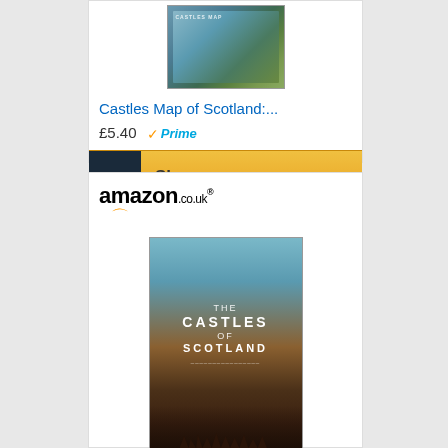[Figure (screenshot): Amazon product listing card (top, partial) for 'Castles Map of Scotland:...' showing a map book cover thumbnail, price £5.40 with Prime badge, and a 'Shop now' button]
[Figure (screenshot): Amazon.co.uk product listing card for 'The Castles of Scotland: A...' showing amazon.co.uk logo, book cover image of 'The Castles of Scotland', price £211.45, and a 'Shop now' button]